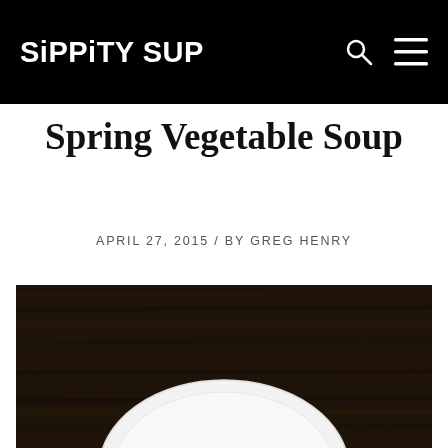SiPPiTY SUP
Spring Vegetable Soup
APRIL 27, 2015 / BY GREG HENRY
[Figure (photo): Dark wood table surface with a white bowl/plate partially visible at the bottom center of the frame, photographed from above]